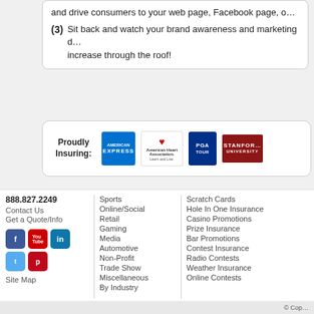and drive consumers to your web page, Facebook page, o...
(3) Sit back and watch your brand awareness and marketing d... increase through the roof!
[Figure (logo): Proudly Insuring: American Express, American Heart Association, PGA Tour, Stanford University logos]
888.827.2249
Contact Us
Get a Quote/Info
[Figure (other): Social media icons: Facebook, YouTube, LinkedIn, Twitter, Pinterest]
Site Map
Sports
Online/Social
Retail
Gaming
Media
Automotive
Non-Profit
Trade Show
Miscellaneous
By Industry
Scratch Cards
Hole In One Insurance
Casino Promotions
Prize Insurance
Bar Promotions
Contest Insurance
Radio Contests
Weather Insurance
Online Contests
© Cop...